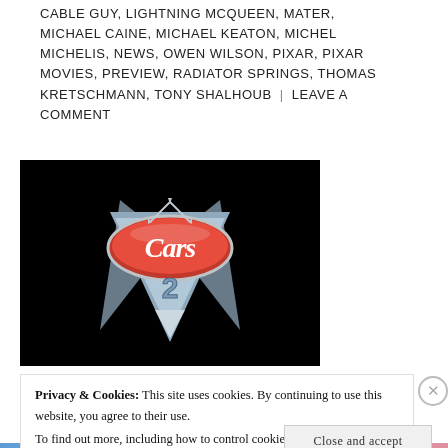CABLE GUY, LIGHTNING MCQUEEN, MATER, MICHAEL CAINE, MICHAEL KEATON, MICHEL MICHELIS, NEWS, OWEN WILSON, PIXAR, PIXAR MOVIES, PREVIEW, RADIATOR SPRINGS, THOMAS KRETSCHMANN, TONY SHALHOUB | LEAVE A COMMENT
[Figure (logo): Cars 2 movie logo on black background — chrome shield-shaped emblem with red center panel showing 'Cars' in cursive script and '2' below in silver/blue metallic style, with wing-like chrome accents]
Privacy & Cookies: This site uses cookies. By continuing to use this website, you agree to their use.
To find out more, including how to control cookies, see here: Cookie Policy
Close and accept